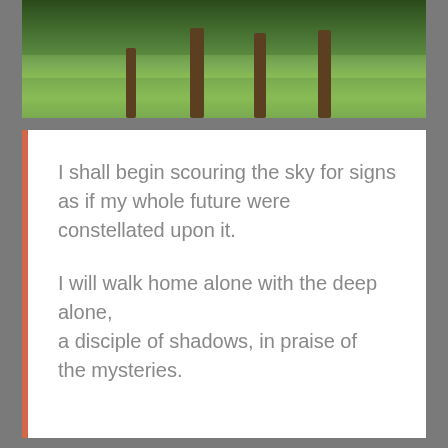[Figure (photo): Outdoor photograph showing green trees and shrubbery with wooden fence posts, grass lawn in foreground, overcast day]
I shall begin scouring the sky for signs
as if my whole future were constellated upon it.

I will walk home alone with the deep alone,
a disciple of shadows, in praise of the mysteries.